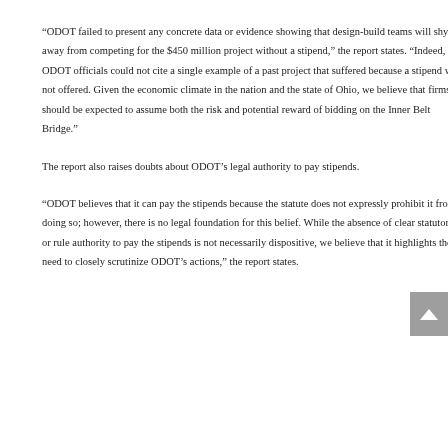“ODOT failed to present any concrete data or evidence showing that design-build teams will shy away from competing for the $450 million project without a stipend,” the report states. “Indeed, ODOT officials could not cite a single example of a past project that suffered because a stipend was not offered. Given the economic climate in the nation and the state of Ohio, we believe that firms should be expected to assume both the risk and potential reward of bidding on the Inner Belt Bridge.”
The report also raises doubts about ODOT’s legal authority to pay stipends.
“ODOT believes that it can pay the stipends because the statute does not expressly prohibit it from doing so; however, there is no legal foundation for this belief. While the absence of clear statutory or rule authority to pay the stipends is not necessarily dispositive, we believe that it highlights the need to closely scrutinize ODOT’s actions,” the report states.